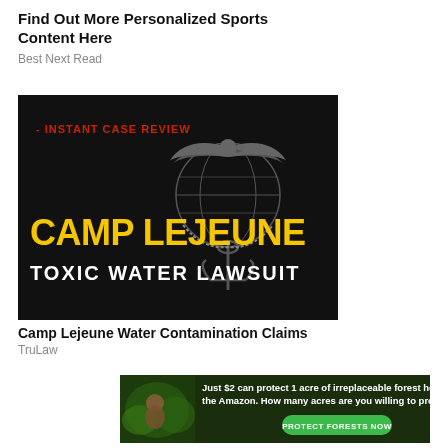Find Out More Personalized Sports Content Here
Best Next Read
[Figure (illustration): Dark background advertisement with US Marine Corps eagle globe and anchor emblem. Red text reads '- INSTANT CASE REVIEW'. Large yellow text reads 'CAMP LEJEUNE'. White text reads 'TOXIC WATER LAWSUIT'.]
Camp Lejeune Water Contamination Claims
TruLaw
[Figure (illustration): Green forest/jungle themed advertisement. Text: 'Just $2 can protect 1 acre of irreplaceable forest homes in the Amazon. How many acres are you willing to protect?' Green button: 'PROTECT FORESTS NOW']